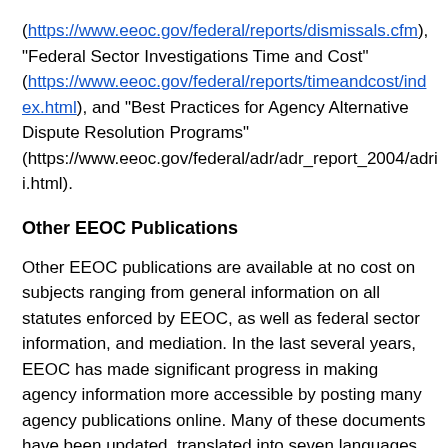(https://www.eeoc.gov/federal/reports/dismissals.cfm), "Federal Sector Investigations Time and Cost" (https://www.eeoc.gov/federal/reports/timeandcost/index.html), and "Best Practices for Agency Alternative Dispute Resolution Programs" (https://www.eeoc.gov/federal/adr/adr_report_2004/adrii.html).
Other EEOC Publications
Other EEOC publications are available at no cost on subjects ranging from general information on all statutes enforced by EEOC, as well as federal sector information, and mediation. In the last several years, EEOC has made significant progress in making agency information more accessible by posting many agency publications online. Many of these documents have been updated, translated into seven languages pursuant to the EEOC's Limited